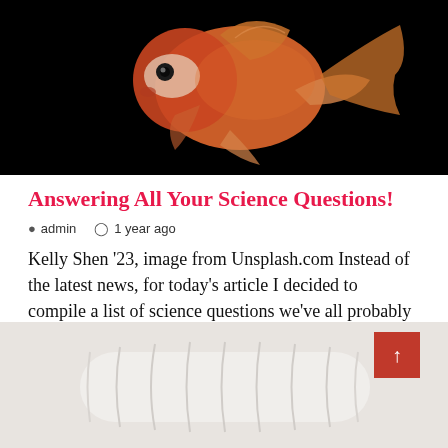[Figure (photo): Goldfish photographed against a black background, showing its orange-red body and flowing fins]
Answering All Your Science Questions!
admin   1 year ago
Kelly Shen '23, image from Unsplash.com Instead of the latest news, for today's article I decided to compile a list of science questions we've all probably wondered at some poi
[Figure (photo): White paint roller on a light grey background, partially visible at bottom of page]